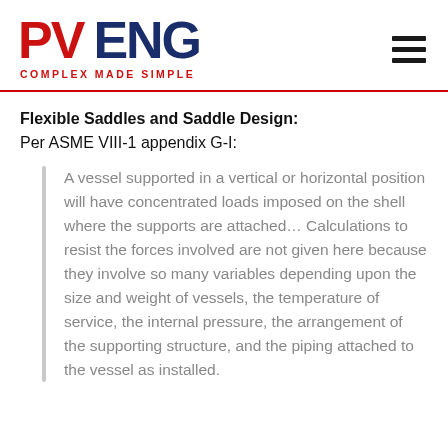PV ENG — COMPLEX MADE SIMPLE
Flexible Saddles and Saddle Design:
Per ASME VIII-1 appendix G-I:
A vessel supported in a vertical or horizontal position will have concentrated loads imposed on the shell where the supports are attached... Calculations to resist the forces involved are not given here because they involve so many variables depending upon the size and weight of vessels, the temperature of service, the internal pressure, the arrangement of the supporting structure, and the piping attached to the vessel as installed.